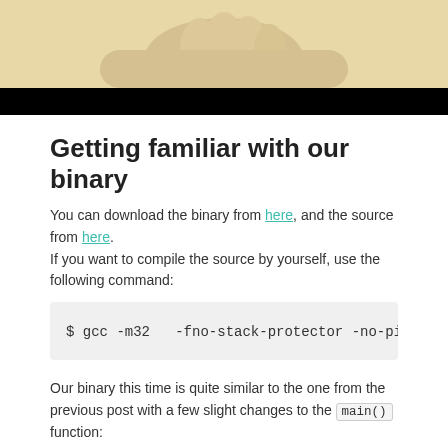[Figure (photo): Top portion of an image showing a beige/cream background with what appears to be a hand or similar object, with a black bar at the bottom of the image crop]
Getting familiar with our binary
You can download the binary from here, and the source from here.
If you want to compile the source by yourself, use the following command:
$ gcc -m32  -fno-stack-protector -no-pi
Our binary this time is quite similar to the one from the previous post with a few slight changes to the main() function: